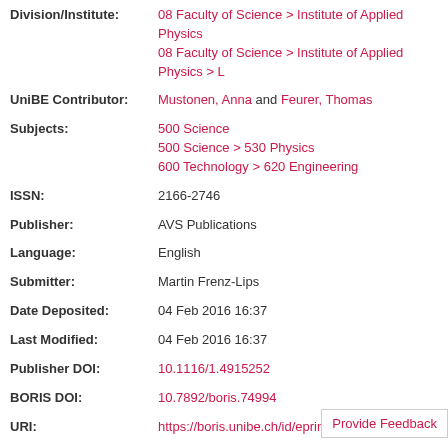Division/Institute: 08 Faculty of Science > Institute of Applied Physics; 08 Faculty of Science > Institute of Applied Physics > L
UniBE Contributor: Mustonen, Anna and Feurer, Thomas
Subjects: 500 Science; 500 Science > 530 Physics; 600 Technology > 620 Engineering
ISSN: 2166-2746
Publisher: AVS Publications
Language: English
Submitter: Martin Frenz-Lips
Date Deposited: 04 Feb 2016 16:37
Last Modified: 04 Feb 2016 16:37
Publisher DOI: 10.1116/1.4915252
BORIS DOI: 10.7892/boris.74994
URI: https://boris.unibe.ch/id/eprint/74994